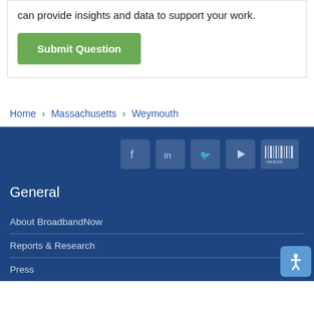can provide insights and data to support your work.
Submit Question
Home › Massachusetts › Weymouth
[Figure (other): Social media icons: Facebook, LinkedIn, Twitter, YouTube, Wikidata]
General
About BroadbandNow
Reports & Research
Press